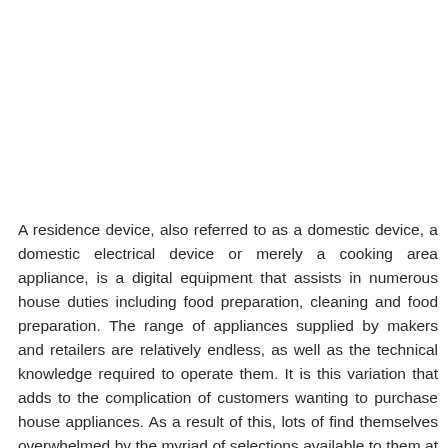A residence device, also referred to as a domestic device, a domestic electrical device or merely a cooking area appliance, is a digital equipment that assists in numerous house duties including food preparation, cleaning and food preparation. The range of appliances supplied by makers and retailers are relatively endless, as well as the technical knowledge required to operate them. It is this variation that adds to the complication of customers wanting to purchase house appliances. As a result of this, lots of find themselves overwhelmed by the myriad of selections available to them at the store.